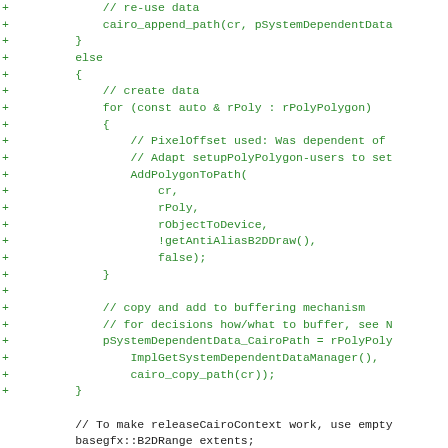[Figure (screenshot): Diff/patch view of C++ source code showing added lines (green +) and a diff marker line (blue @@). Code involves cairo path operations, polygon rendering, and buffering mechanism comments.]